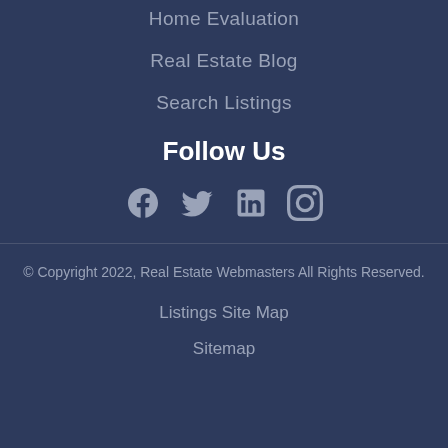Home Evaluation
Real Estate Blog
Search Listings
Follow Us
[Figure (infographic): Social media icons: Facebook, Twitter, LinkedIn, Instagram]
© Copyright 2022, Real Estate Webmasters All Rights Reserved.
Listings Site Map
Sitemap